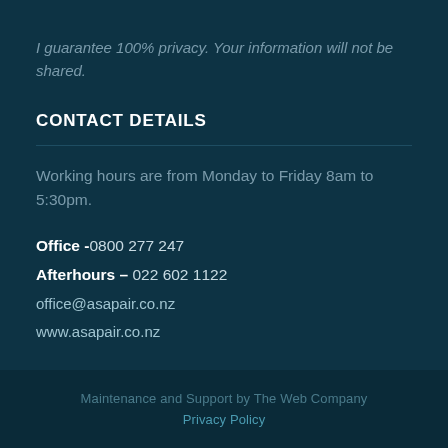I guarantee 100% privacy. Your information will not be shared.
CONTACT DETAILS
Working hours are from Monday to Friday 8am to 5:30pm.
Office -0800 277 247
Afterhours – 022 602 1122
office@asapair.co.nz
www.asapair.co.nz
Maintenance and Support by The Web Company
Privacy Policy